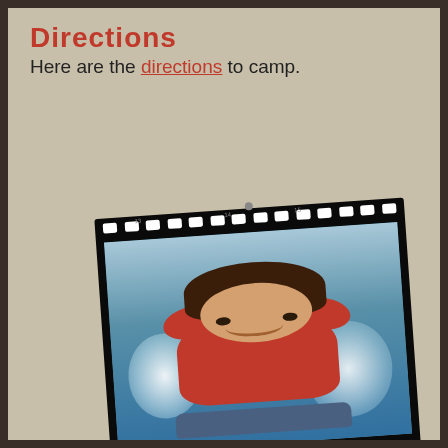Directions
Here are the directions to camp.
[Figure (photo): A child wearing a red life vest in the water, smiling, framed in a film strip style border. A small skull-and-crossbones decorative element appears at the bottom left.]